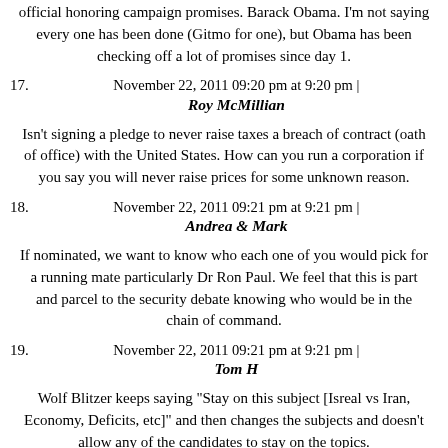official honoring campaign promises. Barack Obama. I'm not saying every one has been done (Gitmo for one), but Obama has been checking off a lot of promises since day 1.
17. November 22, 2011 09:20 pm at 9:20 pm | Roy McMillian
Isn't signing a pledge to never raise taxes a breach of contract (oath of office) with the United States. How can you run a corporation if you say you will never raise prices for some unknown reason.
18. November 22, 2011 09:21 pm at 9:21 pm | Andrea & Mark
If nominated, we want to know who each one of you would pick for a running mate particularly Dr Ron Paul. We feel that this is part and parcel to the security debate knowing who would be in the chain of command.
19. November 22, 2011 09:21 pm at 9:21 pm | Tom H
Wolf Blitzer keeps saying "Stay on this subject [Isreal vs Iran, Economy, Deficits, etc]" and then changes the subjects and doesn't allow any of the candidates to stay on the topics.